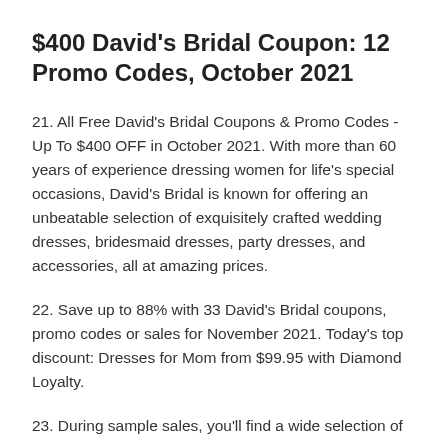$400 David's Bridal Coupon: 12 Promo Codes, October 2021
21. All Free David's Bridal Coupons & Promo Codes - Up To $400 OFF in October 2021. With more than 60 years of experience dressing women for life's special occasions, David's Bridal is known for offering an unbeatable selection of exquisitely crafted wedding dresses, bridesmaid dresses, party dresses, and accessories, all at amazing prices.
22. Save up to 88% with 33 David's Bridal coupons, promo codes or sales for November 2021. Today's top discount: Dresses for Mom from $99.95 with Diamond Loyalty.
23. During sample sales, you'll find a wide selection of